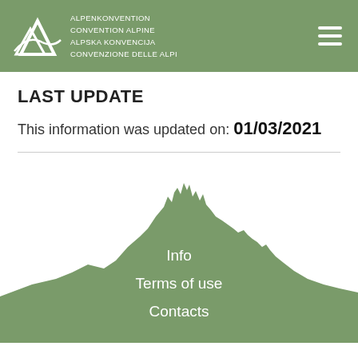ALPENKONVENTION CONVENTION ALPINE ALPSKA KONVENCIJA CONVENZIONE DELLE ALPI
LAST UPDATE
This information was updated on: 01/03/2021
[Figure (illustration): Green mountain silhouette decorative background with navigation menu links: Info, Terms of use, Contacts]